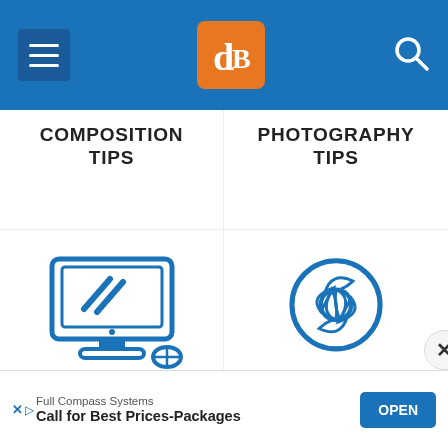dPS logo with hamburger menu and search
COMPOSITION TIPS
PHOTOGRAPHY TIPS
[Figure (illustration): Blue line icon of a desktop computer monitor with diagonal brush strokes on screen, with keyboard below]
[Figure (illustration): Blue line icon of a camera aperture/shutter]
PHOTO POST PROCESSING TIPS
GET STARTED WITH CAMERAS AND GEAR
Full Compass Systems — Call for Best Prices-Packages — OPEN